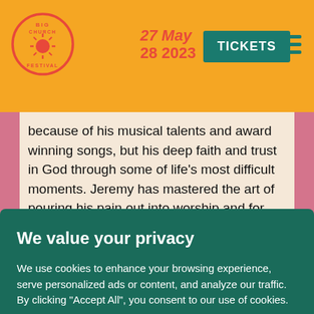BigChurch Festival | 27 May 28 2023 | TICKETS
because of his musical talents and award winning songs, but his deep faith and trust in God through some of life's most difficult moments. Jeremy has mastered the art of pouring his pain out into worship and for over 20 years he has been doing just that and impacting millions as a result. With countless
We value your privacy
We use cookies to enhance your browsing experience, serve personalized ads or content, and analyze our traffic. By clicking "Accept All", you consent to our use of cookies.
Customize | Reject All | Accept All